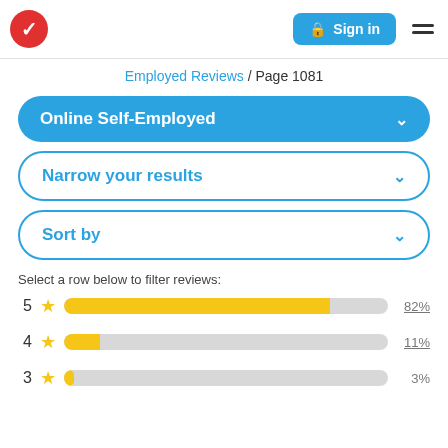Sign in | Menu
Employed Reviews / Page 1081
Online Self-Employed
Narrow your results
Sort by
Select a row below to filter reviews:
[Figure (bar-chart): Star rating distribution]